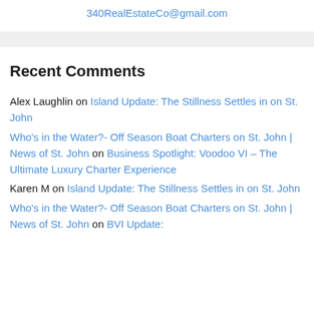340RealEstateCo@gmail.com
Recent Comments
Alex Laughlin on Island Update: The Stillness Settles in on St. John
Who's in the Water?- Off Season Boat Charters on St. John | News of St. John on Business Spotlight: Voodoo VI – The Ultimate Luxury Charter Experience
Karen M on Island Update: The Stillness Settles in on St. John
Who's in the Water?- Off Season Boat Charters on St. John | News of St. John on BVI Update: